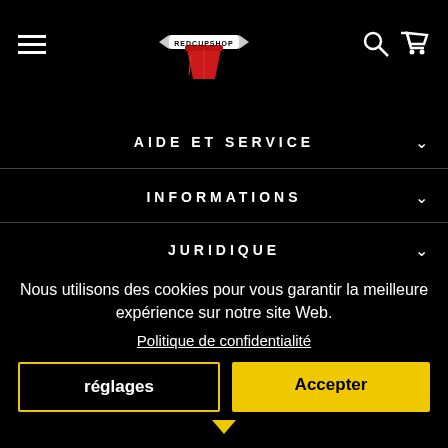[Figure (logo): RedCupShop logo: red cup with banner saying REDCUPSHOP]
AIDE ET SERVICE
INFORMATIONS
JURIDIQUE
Nous utilisons des cookies pour vous garantir la meilleure expérience sur notre site Web.
Politique de confidentialité
réglages
Accepter